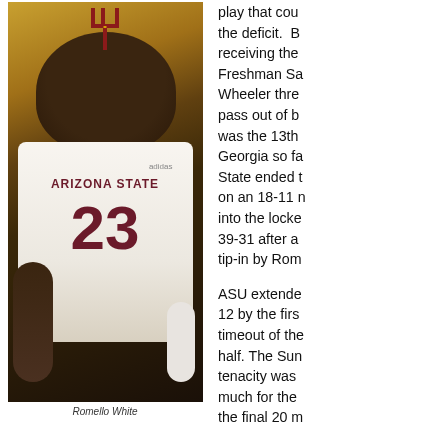[Figure (photo): Arizona State basketball player wearing jersey number 23 (Arizona State) celebrating with mouth open in an intense expression. Player has tattoos on both arms. Photo taken at what appears to be a game setting with gold/yellow background lighting. ASU pitchfork logo visible at top of image.]
Romello White
play that cou the deficit. B receiving the Freshman Sa Wheeler thre pass out of b was the 13th Georgia so fa State ended t on an 18-11 n into the locke 39-31 after a tip-in by Rom
ASU extende 12 by the firs timeout of the half. The Sun tenacity was much for the the final 20 m